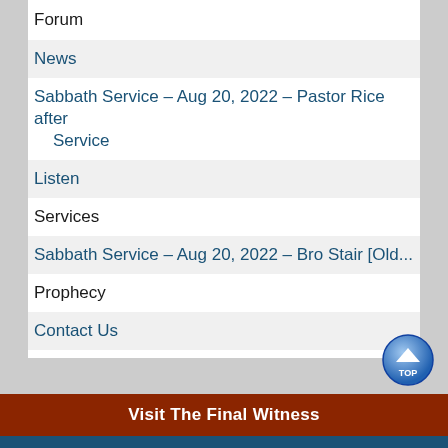Forum
News
Sabbath Service – Aug 20, 2022 – Pastor Rice after Service
Listen
Services
Sabbath Service – Aug 20, 2022 – Bro Stair [Old...
Prophecy
Contact Us
Privacy Policy
The Passing-Over of Brother R. G. Stair
About Us
The End of Brother Stair's Ministry and Radio...
Visit The Final Witness